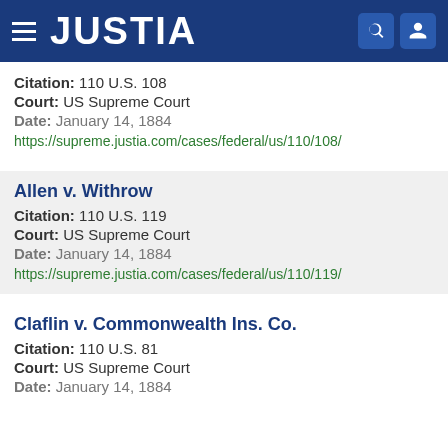JUSTIA
Citation: 110 U.S. 108
Court: US Supreme Court
Date: January 14, 1884
https://supreme.justia.com/cases/federal/us/110/108/
Allen v. Withrow
Citation: 110 U.S. 119
Court: US Supreme Court
Date: January 14, 1884
https://supreme.justia.com/cases/federal/us/110/119/
Claflin v. Commonwealth Ins. Co.
Citation: 110 U.S. 81
Court: US Supreme Court
Date: January 14, 1884